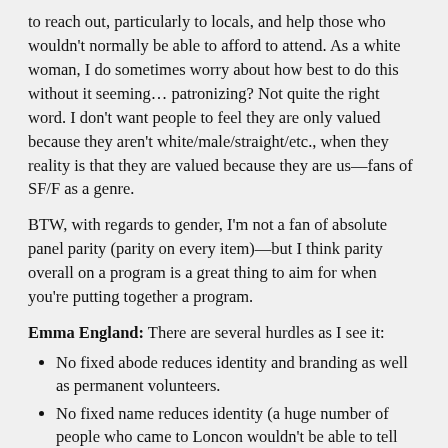to reach out, particularly to locals, and help those who wouldn't normally be able to afford to attend. As a white woman, I do sometimes worry about how best to do this without it seeming… patronizing? Not quite the right word. I don't want people to feel they are only valued because they aren't white/male/straight/etc., when they reality is that they are valued because they are us—fans of SF/F as a genre.
BTW, with regards to gender, I'm not a fan of absolute panel parity (parity on every item)—but I think parity overall on a program is a great thing to aim for when you're putting together a program.
Emma England: There are several hurdles as I see it:
No fixed abode reduces identity and branding as well as permanent volunteers.
No fixed name reduces identity (a huge number of people who came to Loncon wouldn't be able to tell you it was actually a Worldcon or what a Worldcon is).
No permanent, paid staff to do the fundamental donkey work.